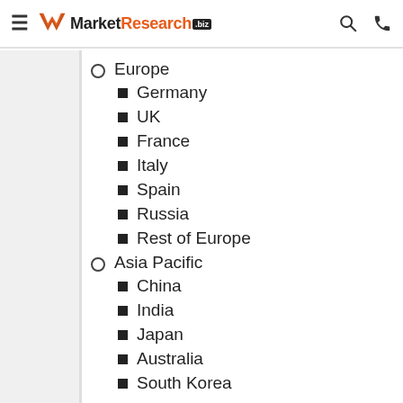MarketResearch.biz
Europe
Germany
UK
France
Italy
Spain
Russia
Rest of Europe
Asia Pacific
China
India
Japan
Australia
South Korea